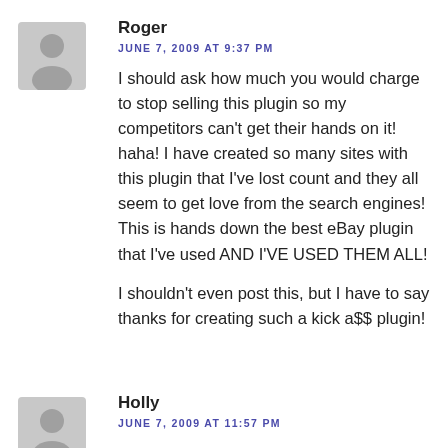Roger
JUNE 7, 2009 AT 9:37 PM
I should ask how much you would charge to stop selling this plugin so my competitors can't get their hands on it! haha! I have created so many sites with this plugin that I've lost count and they all seem to get love from the search engines! This is hands down the best eBay plugin that I've used AND I'VE USED THEM ALL!

I shouldn't even post this, but I have to say thanks for creating such a kick a$$ plugin!
Holly
JUNE 7, 2009 AT 11:57 PM